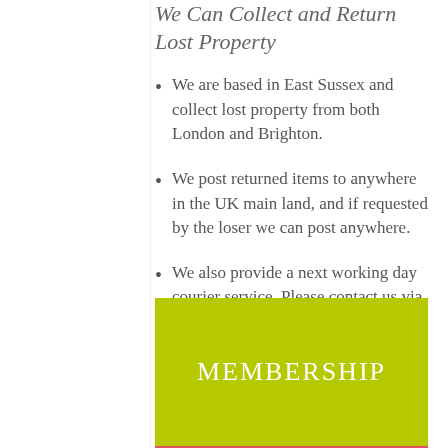We Can Collect and Return Lost Property
We are based in East Sussex and collect lost property from both London and Brighton.
We post returned items to anywhere in the UK main land, and if requested by the loser we can post anywhere.
We also provide a next working day courier service. Please contact us via email first for a postage quote.
[Figure (other): Green banner with white text reading MEMBERSHIP]
[Figure (other): Red/pink banner with white text reading LOST SOMETHING?]